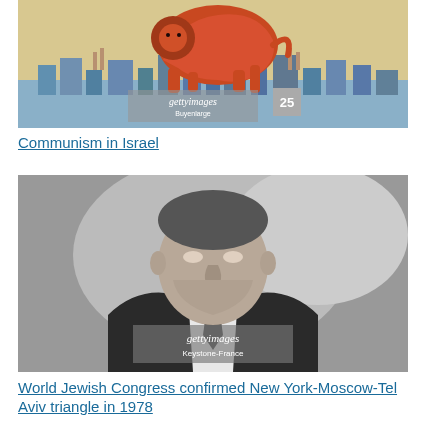[Figure (photo): A colorful illustration showing a red lion leaping over a city skyline with factories and buildings. Getty Images watermark visible with '25' and 'Buyenlarge' text.]
Communism in Israel
[Figure (photo): Black and white photograph of a man in a suit and tie, speaking or caught mid-expression, mouth open. Getty Images watermark with 'Keystone-France' credit.]
World Jewish Congress confirmed New York-Moscow-Tel Aviv triangle in 1978